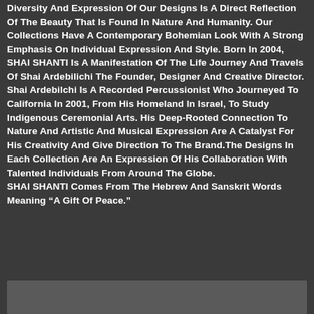Diversity And Expression Of Our Designs Is A Direct Reflection Of The Beauty That Is Found In Nature And Humanity. Our Collections Have A Contemporary Bohemian Look With A Strong Emphasis On Individual Expression And Style. Born In 2004, SHAI SHANTI Is A Manifestation Of The Life Journey And Travels Of Shai Ardebilichi The Founder, Designer And Creative Director. Shai Ardebilchi Is A Recorded Percussionist Who Journeyed To California In 2001, From His Homeland In Israel, To Study Indigenous Ceremonial Arts. His Deep-Rooted Connection To Nature And Artistic And Musical Expression Are A Catalyst For His Creativity And Give Direction To The Brand.The Designs In Each Collection Are An Expression Of His Collaboration With Talented Individuals From Around The Globe. SHAI SHANTI Comes From The Hebrew And Sanskrit Words Meaning “A Gift Of Peace.”
[Figure (other): Dark gray rectangular box at the bottom of the page]